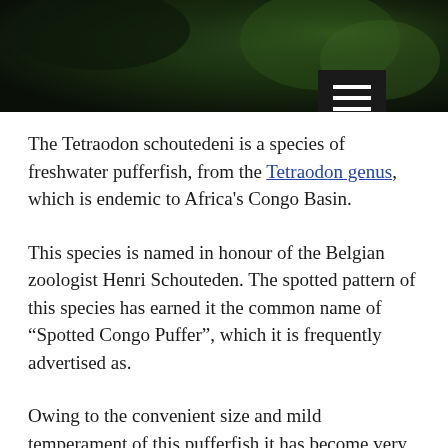[Figure (photo): Dark green/black background photo showing a pufferfish or aquatic scene, partially visible at top of page. A black hamburger menu button is overlaid in the upper right area.]
The Tetraodon schoutedeni is a species of freshwater pufferfish, from the Tetraodon genus, which is endemic to Africa's Congo Basin.
This species is named in honour of the Belgian zoologist Henri Schouteden. The spotted pattern of this species has earned it the common name of “Spotted Congo Puffer”, which it is frequently advertised as.
Owing to the convenient size and mild temperament of this pufferfish it has become very popular with enthusiasts across the world.